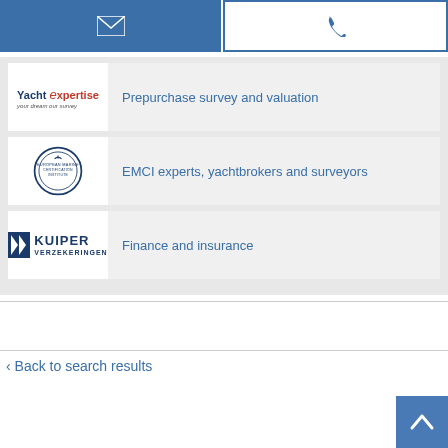[Figure (screenshot): Email button (blue filled) and phone button (white with blue border) side by side at top]
Prepurchase survey and valuation
[Figure (logo): Yacht Expertise logo - your dream our survey]
EMCI experts, yachtbrokers and surveyors
[Figure (logo): EMCI European Marine Certification Institute circular logo]
Finance and insurance
[Figure (logo): Kuiper Verzekeringen logo]
< Back to search results